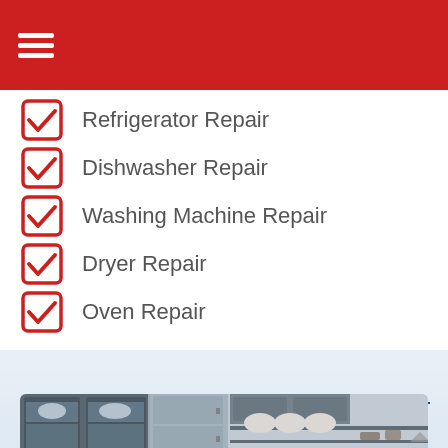Navigation menu
Refrigerator Repair
Dishwasher Repair
Washing Machine Repair
Dryer Repair
Oven Repair
Appliances Repair Company
[Figure (photo): Kitchen with dark grey cabinetry, open shelves with dishes and bowls, and a stainless steel refrigerator]